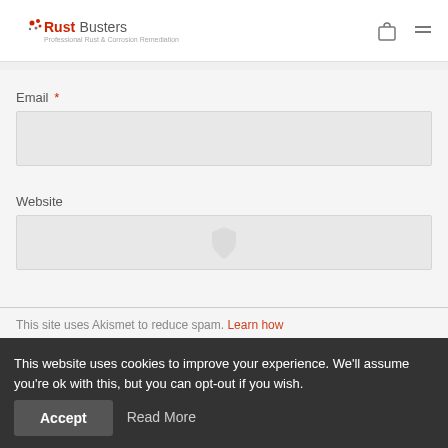Rust Busters
Email *
Website
Submit Comment
This site uses Akismet to reduce spam. Learn how
This website uses cookies to improve your experience. We'll assume you're ok with this, but you can opt-out if you wish.
Accept
Read More